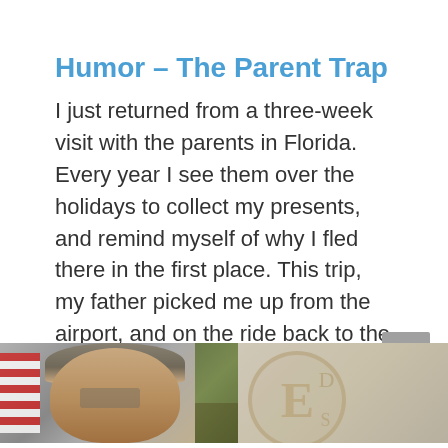Humor – The Parent Trap
I just returned from a three-week visit with the parents in Florida. Every year I see them over the holidays to collect my presents, and remind myself of why I fled there in the first place. This trip, my father picked me up from the airport, and on the ride back to the house ...
Read more
[Figure (photo): Bottom portion of page showing a partial photo of a man's face next to what appears to be a green/olive colored image and a light grey seal/emblem image on the right]